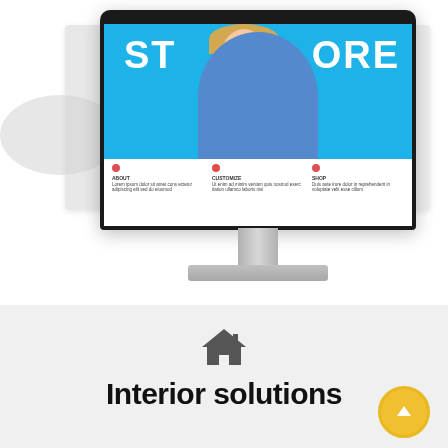[Figure (screenshot): A desktop iMac-style monitor mockup displaying a website with a blue hero banner showing a partial word (ST__ORE) and a woman in a plaid shirt, plus a white content section below with three icon-text columns. Background shows shadowed page overlays on left and right.]
[Figure (illustration): A house/home icon in dark gray color, centered above the 'Interior solutions' heading.]
Interior solutions